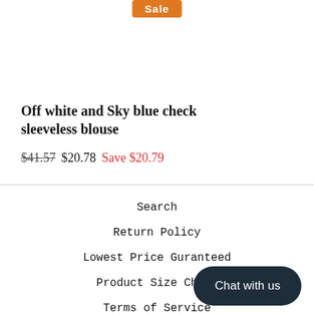[Figure (other): Orange 'Sale' badge button at top center]
Off white and Sky blue check sleeveless blouse
$41.57  $20.78  Save $20.79
Search
Return Policy
Lowest Price Guranteed
Product Size Chart
Terms of Service
Shipping Policy
Chat with us